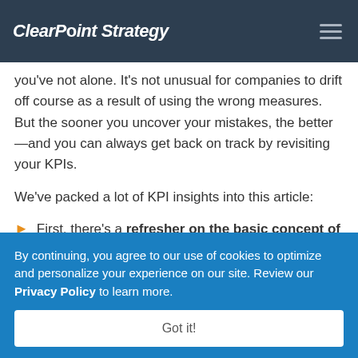ClearPoint Strategy
you've not alone. It's not unusual for companies to drift off course as a result of using the wrong measures. But the sooner you uncover your mistakes, the better—and you can always get back on track by revisiting your KPIs.
We've packed a lot of KPI insights into this article:
First, there's a refresher on the basic concept of KPIs.
By continuing, you agree to our use of cookies to optimize and personalize your experience on our site. Review our Privacy Policy to learn more.
Got it!